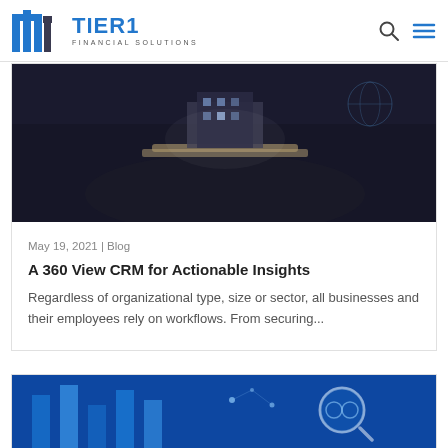TIER1 FINANCIAL SOLUTIONS
[Figure (photo): Dark moody photo of hands holding a tray with a model building, business concept image]
May 19, 2021 | Blog
A 360 View CRM for Actionable Insights
Regardless of organizational type, size or sector, all businesses and their employees rely on workflows. From securing...
[Figure (photo): Blue data analytics themed image with bar charts, magnifying glass and circular graphics]